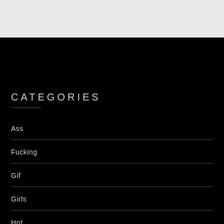[Figure (other): Light gray top section of a webpage with partial UI elements visible]
CATEGORIES
Ass
Fucking
Gif
Girls
Hot
Korean